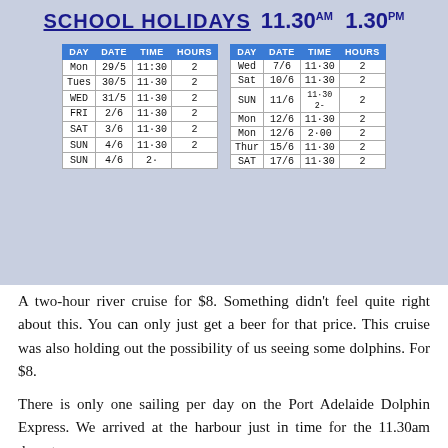[Figure (photo): Photograph of a school holiday cruise schedule board showing two handwritten timetable tables side by side, with headers DAY, DATE, TIME, HOURS. Left table lists: Mon 29/5 11:30 2, Tues 30/5 11:30 2, Wed 31/5 11:30 2, Fri 2/6 11:30 2, Sat 3/6 11:30 2, Sun 4/6 11:30 2, Sun 4/6 2- [blank]. Right table lists: Wed 7/6 11:30 2, Sat 10/6 11:30 2, Sun 11/6 11:30/2- 2, Mon 12/6 11:30 2, Mon 12/6 2:00 2, Thur 15/6 11:30 2, Sat 17/6 11:30 2. Header text reads SCHOOL HOLIDAYS 11.30 AM 1.30 PM]
A two-hour river cruise for $8. Something didn't feel quite right about this. You can only just get a beer for that price. This cruise was also holding out the possibility of us seeing some dolphins. For $8.
There is only one sailing per day on the Port Adelaide Dolphin Express. We arrived at the harbour just in time for the 11.30am departure.